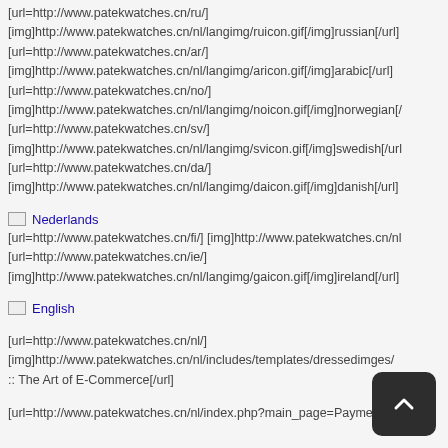[url=http://www.patekwatches.cn/ru/]
[img]http://www.patekwatches.cn/nl/langimg/ruicon.gif[/img]russian[/url]
[url=http://www.patekwatches.cn/ar/]
[img]http://www.patekwatches.cn/nl/langimg/aricon.gif[/img]arabic[/url]
[url=http://www.patekwatches.cn/no/]
[img]http://www.patekwatches.cn/nl/langimg/noicon.gif[/img]norwegian[/...
[url=http://www.patekwatches.cn/sv/]
[img]http://www.patekwatches.cn/nl/langimg/svicon.gif[/img]swedish[/url]
[url=http://www.patekwatches.cn/da/]
[img]http://www.patekwatches.cn/nl/langimg/daicon.gif[/img]danish[/url]
[Figure (other): Nederlands flag/image placeholder with link text 'Nederlands']
[url=http://www.patekwatches.cn/fi/] [img]http://www.patekwatches.cn/nl...
[url=http://www.patekwatches.cn/ie/]
[img]http://www.patekwatches.cn/nl/langimg/gaicon.gif[/img]ireland[/url]
[Figure (other): English flag/image placeholder with link text 'English']
[url=http://www.patekwatches.cn/nl/]
[img]http://www.patekwatches.cn/nl/includes/templates/dressedimes/...
:: The Art of E-Commerce[/url]
[url=http://www.patekwatches.cn/nl/index.php?main_page=Payment_M...